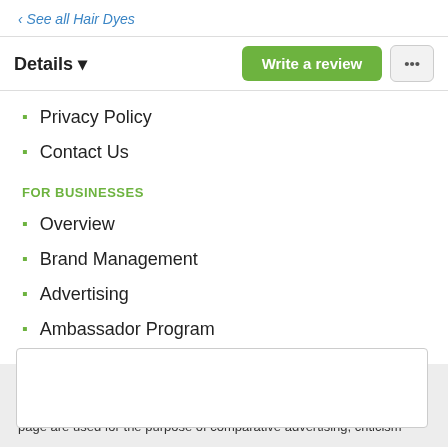‹ See all Hair Dyes
Details ▾   Write a review   ...
Privacy Policy
Contact Us
FOR BUSINESSES
Overview
Brand Management
Advertising
Ambassador Program
© 2022 ProductReview.com.au Pty. Ltd. All Rights Reserved. General disclaimer: All third party trademarks, images and copyrights on this page are used for the purpose of comparative advertising, criticism
in the disclaimer.